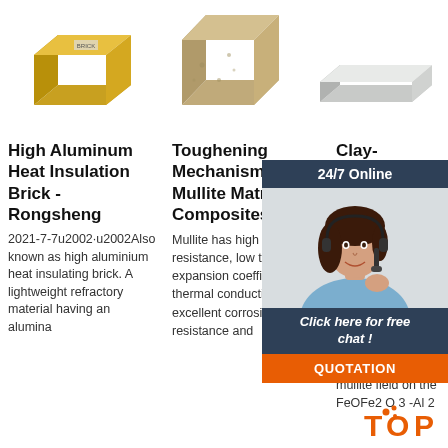[Figure (photo): Three refractory bricks/products shown from left to right: a golden-yellow high alumina brick, a beige/tan mullite brick, and a white/grey elongated ceramic piece]
High Aluminum Heat Insulation Brick - Rongsheng
2021-7-7u2002·u2002Also known as high aluminium heat insulating brick. A lightweight refractory material having an alumina
Toughening Mechanism of Mullite Matrix Composites: A
Mullite has high creep resistance, low thermal expansion coefficient and thermal conductivity, excellent corrosion resistance and
Clay- from rock t Scier
2016-1 15u200 and ka tailings equally mixed. The resulted batch is non-bloatable and located in t mullite field on the FeOFe2 O 3 -Al 2
[Figure (photo): Chat support widget with 24/7 Online label, a smiling female customer service representative wearing a headset, 'Click here for free chat!' text, and an orange QUOTATION button]
[Figure (logo): TOP logo in orange with decorative dots, bottom right overlay]